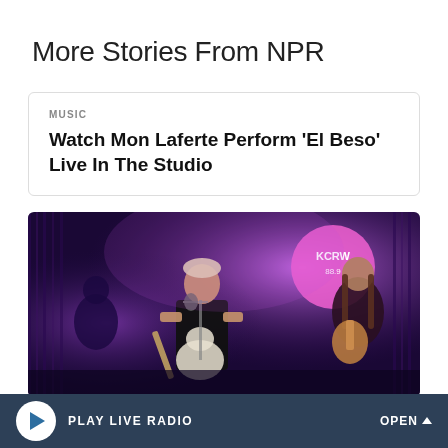More Stories From NPR
MUSIC
Watch Mon Laferte Perform 'El Beso' Live In The Studio
[Figure (photo): Photo of Mon Laferte performing live on stage with a guitar at a studio session, purple stage lighting, other band members visible in background, KCRW sign in background]
PLAY LIVE RADIO   OPEN